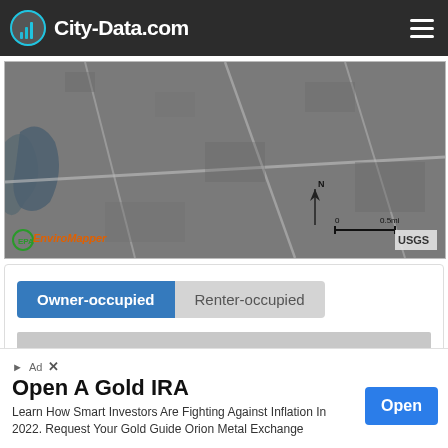City-Data.com
[Figure (map): Aerial/satellite grayscale map from EPA EnviroMapper / USGS showing a town area with roads, water body on the left, and a north arrow with scale bar. Logos: EPA EnviroMapper (green/orange), USGS (bottom right).]
Owner-occupied | Renter-occupied
[Figure (other): Gray placeholder bar representing a chart area below the Owner-occupied / Renter-occupied toggle buttons.]
Open A Gold IRA
Learn How Smart Investors Are Fighting Against Inflation In 2022. Request Your Gold Guide Orion Metal Exchange